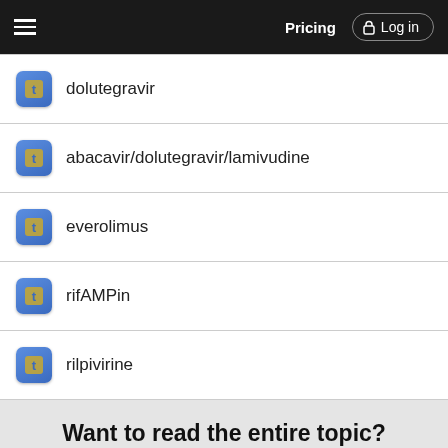Pricing  Log in
dolutegravir
abacavir/dolutegravir/lamivudine
everolimus
rifAMPin
rilpivirine
Want to read the entire topic?
Access up-to-date medical information for less than $1 a week
Purchase a subscription
I'm already a subscriber
Browse sample topics